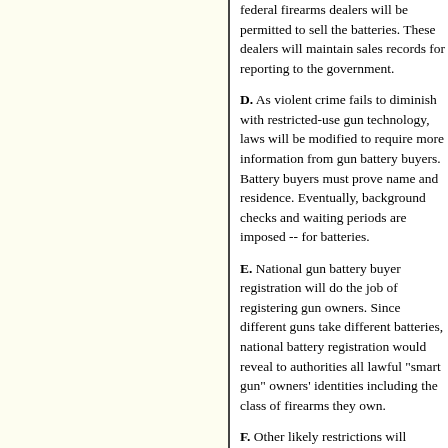federal firearms dealers will be permitted to sell the batteries. These dealers will maintain sales records for reporting to the government.
D. As violent crime fails to diminish with restricted-use gun technology, laws will be modified to require more information from gun battery buyers. Battery buyers must prove name and residence. Eventually, background checks and waiting periods are imposed -- for batteries.
E. National gun battery buyer registration will do the job of registering gun owners. Since different guns take different batteries, national battery registration would reveal to authorities all lawful "smart gun" owners' identities including the class of firearms they own.
F. Other likely restrictions will include limits on gun battery purchases (on batteries per month or per year). Gun owners will not be permitted to stockpile batteries, so that they cannot sell spare batteries to criminals who have stolen guns. (If your gun battery dies, you're out of luck till you can get a